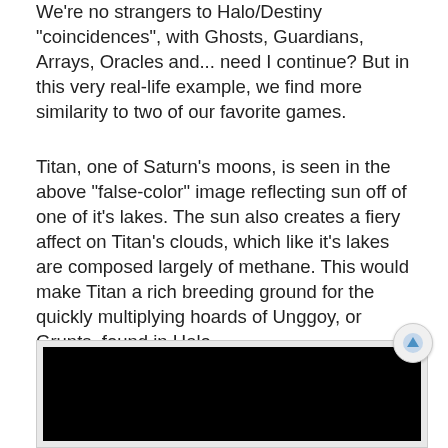We're no strangers to Halo/Destiny "coincidences", with Ghosts, Guardians, Arrays, Oracles and... need I continue? But in this very real-life example, we find more similarity to two of our favorite games.
Titan, one of Saturn's moons, is seen in the above “false-color” image reflecting sun off of one of it’s lakes. The sun also creates a fiery affect on Titan’s clouds, which like it’s lakes are composed largely of methane. This would make Titan a rich breeding ground for the quickly multiplying hoards of Unggoy, or Grunts, found in Halo.
[Figure (screenshot): Black rectangle representing a video or image embed area with a light gray frame border, and a circular scroll-to-top button with an upward arrow in the top-right corner.]